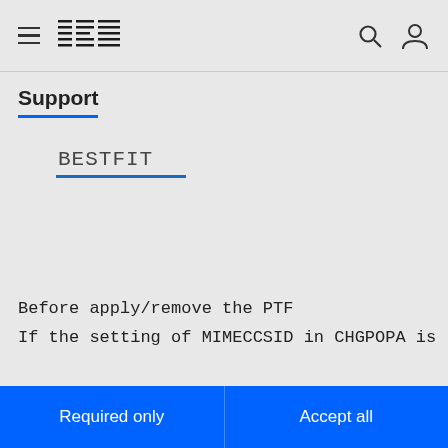IBM Support
Support
BESTFIT
Before apply/remove the PTF
If the setting of MIMECCSID in CHGPOPA is
About cookies on this site
Our websites require some cookies to function properly (required). In addition, other cookies may be used with your consent to analyze site usage, improve the user experience and for advertising.

For more information, please review your Cookie preferences options and IBM's privacy statement.
Required only
Accept all